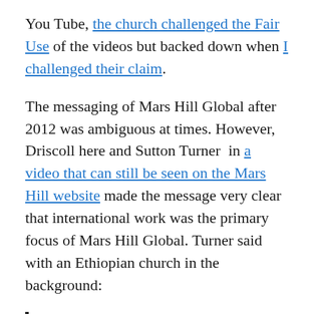You Tube, the church challenged the Fair Use of the videos but backed down when I challenged their claim.
The messaging of Mars Hill Global after 2012 was ambiguous at times. However, Driscoll here and Sutton Turner in a video that can still be seen on the Mars Hill website made the message very clear that international work was the primary focus of Mars Hill Global. Turner said with an Ethiopian church in the background:
Mars Hill Global is the arm of Mars Hill Church that makes disciples and plant churches all over the world.